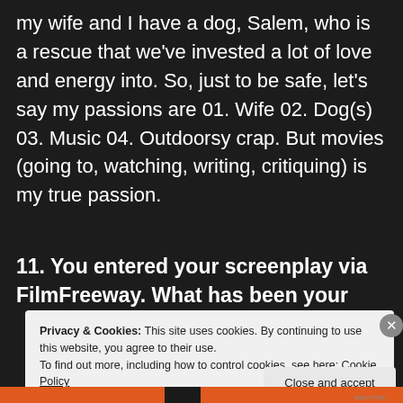my wife and I have a dog, Salem, who is a rescue that we've invested a lot of love and energy into. So, just to be safe, let's say my passions are 01. Wife 02. Dog(s) 03. Music 04. Outdoorsy crap. But movies (going to, watching, writing, critiquing) is my true passion.
11. You entered your screenplay via FilmFreeway. What has been your
Privacy & Cookies: This site uses cookies. By continuing to use this website, you agree to their use.
To find out more, including how to control cookies, see here: Cookie Policy
Close and accept